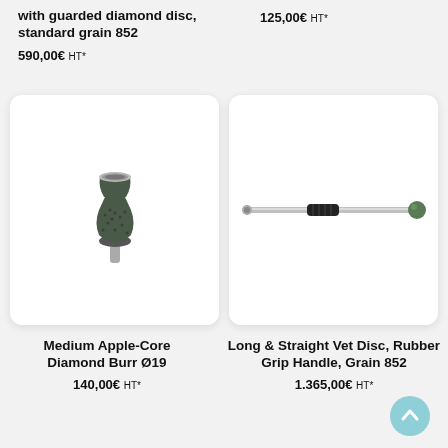with guarded diamond disc, standard grain 852
590,00€ HT*
125,00€ HT*
[Figure (photo): Medium Apple-Core Diamond Burr dental/veterinary tool, hourglass shaped with diamond coating and metal shank]
[Figure (photo): Long and straight veterinary disc with rubber grip handle, thin rod with small green ball at tip]
Medium Apple-Core Diamond Burr Ø19
140,00€ HT*
Long & Straight Vet Disc, Rubber Grip Handle, Grain 852
1.365,00€ HT*